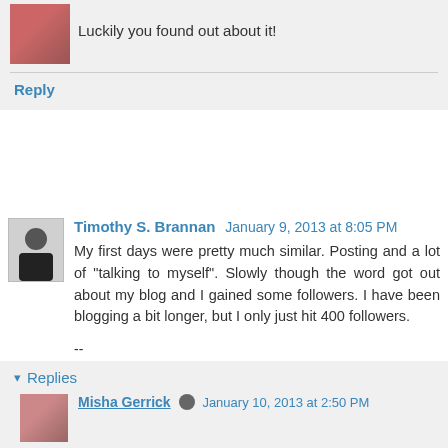Luckily you found out about it!
Reply
Timothy S. Brannan  January 9, 2013 at 8:05 PM
My first days were pretty much similar. Posting and a lot of "talking to myself". Slowly though the word got out about my blog and I gained some followers. I have been blogging a bit longer, but I only just hit 400 followers.
--
Tim Brannan
The Other Side
The Freedom of Nonbelief
Reply
Replies
Misha Gerrick  January 10, 2013 at 2:50 PM